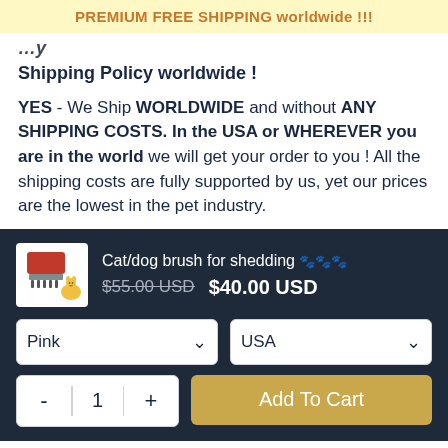PREMIUM FREE SHIPPING worldwide !!!
Shipping Policy worldwide !
YES - We Ship WORLDWIDE and without ANY SHIPPING COSTS. In the USA or WHEREVER you are in the world we will get your order to you ! All the shipping costs are fully supported by us, yet our prices are the lowest in the pet industry.
Cat/dog brush for shedding 🐾🐾🐾 $55.00 USD $40.00 USD
Pink (dropdown) | USA (dropdown) | Quantity: - 1 + | Add To Cart